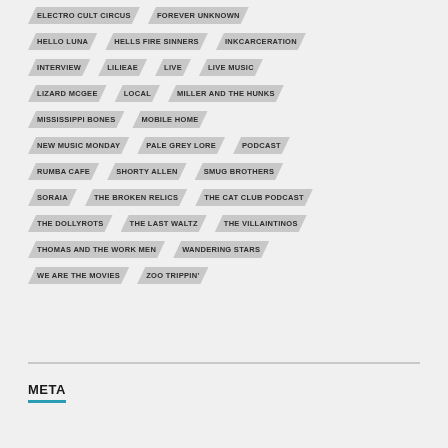ELECTRO CULT CIRCUS
FOREVER UNKNOWN
HELLO LUNA
HELLS FIRE SINNERS
INKCARCERATION
INTERVIEW
LILIEAE
LIVE
LIVE MUSIC
LIZARD MCGEE
LOCAL
MILLER AND THE HUNKS
MISSISSIPPI BONES
MOBILE HOME
NEW MUSIC MONDAY
PALE GREY LORE
PODCAST
RUMBA CAFE
SHORTY ALLEN
SMUG BROTHERS
SORAIA
THE BROKEN RELICS
THE CAT CLUB PODCAST
THE DOLLYROTS
THE LAST WALTZ
THE VILLAINTINOS
THOMAS AND THE WORK MEN
WANDERING STARS
WE ARE THE MOVIES
ZOO TRIPPIN'
META